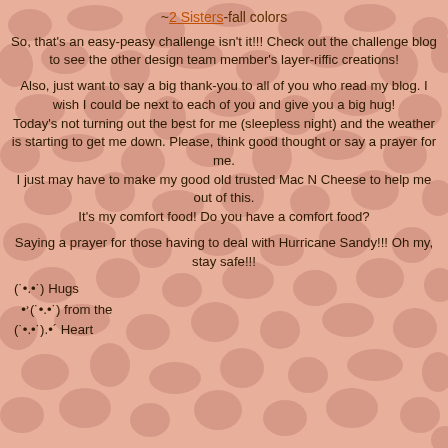~2 Sisters-fall colors
So, that's an easy-peasy challenge isn't it!!! Check out the challenge blog to see the other design team member's layer-riffic creations!
Also, just want to say a big thank-you to all of you who read my blog. I wish I could be next to each of you and give you a big hug!
Today's not turning out the best for me (sleepless night) and the weather is starting to get me down. Please, think good thought or say a prayer for me.
I just may have to make my good old trusted Mac N Cheese to help me out of this.
It's my comfort food! Do you have a comfort food?
Saying a prayer for those having to deal with Hurricane Sandy!!! Oh my, stay safe!!!
(˙•.•˙) Hugs
  •ₙ(˙•.•˙) from the
(˙•.•˙).•´ Heart